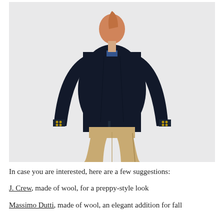[Figure (photo): Back view of a woman wearing a dark navy blazer with gold buttons and khaki/tan slim trousers, standing against a light gray-white background.]
In case you are interested, here are a few suggestions:
J. Crew, made of wool, for a preppy-style look
Massimo Dutti, made of wool, an elegant addition for fall